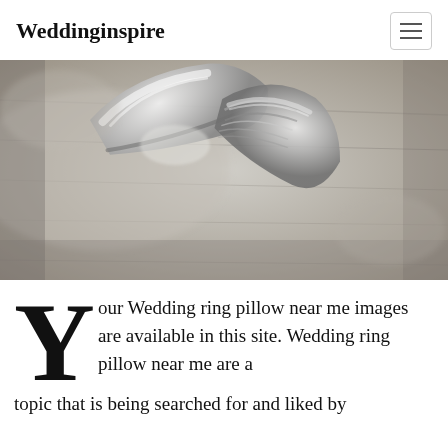Weddinginspire
[Figure (photo): Close-up macro photograph of two silver wedding rings intertwined on a wooden surface, showing detailed metalwork and texture.]
Your Wedding ring pillow near me images are available in this site. Wedding ring pillow near me are a topic that is being searched for and liked by